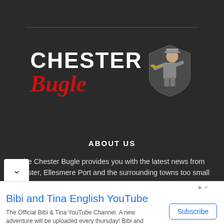[Figure (logo): Chester Bugle logo with red and white text and a bugler soldier illustration on dark background]
ABOUT US
The Chester Bugle provides you with the latest news from Chester, Ellesmere Port and the surrounding towns too small to bother mentioning. You know where they are.
[Figure (other): Advertisement banner for Bibi and Tina English YouTube channel with Subscribe button]